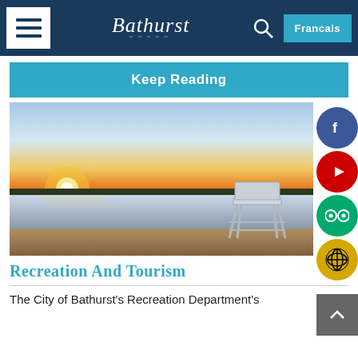Bathurst — navigation bar with hamburger menu, Bathurst logo, search icon, Francais button
Keep Reading
[Figure (photo): Beach scene at sunset with a lifeguard chair on the right, calm water and sandy shore, orange/golden sky]
Recreation And Tourism
The City of Bathurst's Recreation Department's